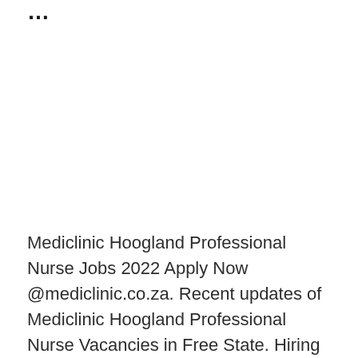...
Mediclinic Hoogland Professional Nurse Jobs 2022 Apply Now @mediclinic.co.za. Recent updates of Mediclinic Hoogland Professional Nurse Vacancies in Free State. Hiring Opportunity at the post of Professional Nurse Jobs at Mediclinic Hoogland. Subscribe to this newsletter for more updates by Mediclinic...